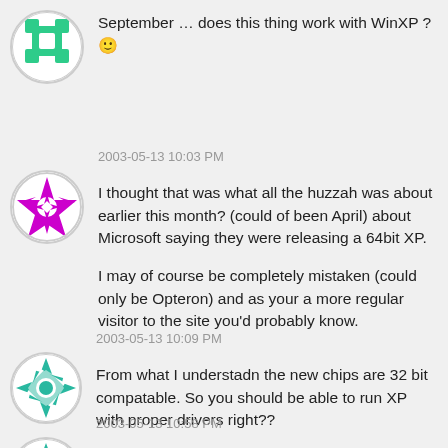September … does this thing work with WinXP ? 🙂
2003-05-13 10:03 PM
I thought that was what all the huzzah was about earlier this month? (could of been April) about Microsoft saying they were releasing a 64bit XP.

I may of course be completely mistaken (could only be Opteron) and as your a more regular visitor to the site you'd probably know.
2003-05-13 10:09 PM
From what I understadn the new chips are 32 bit compatable. So you should be able to run XP with proper drivers right??
2003-05-13 10:58 PM